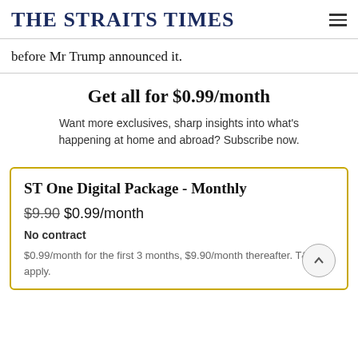THE STRAITS TIMES
before Mr Trump announced it.
Get all for $0.99/month
Want more exclusives, sharp insights into what's happening at home and abroad? Subscribe now.
ST One Digital Package - Monthly
$9.90 $0.99/month
No contract
$0.99/month for the first 3 months, $9.90/month thereafter. T&Cs apply.